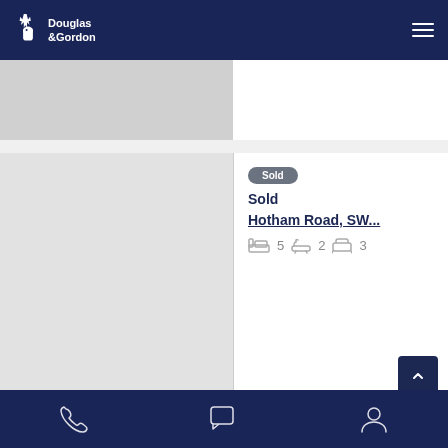Douglas & Gordon — navigation header with logo and hamburger menu
[Figure (screenshot): Property listing card showing a sold property at Hotham Road, SW... with 5 bedrooms, 2 bathrooms, 3 reception rooms]
Footer navigation with phone, chat, and account icons